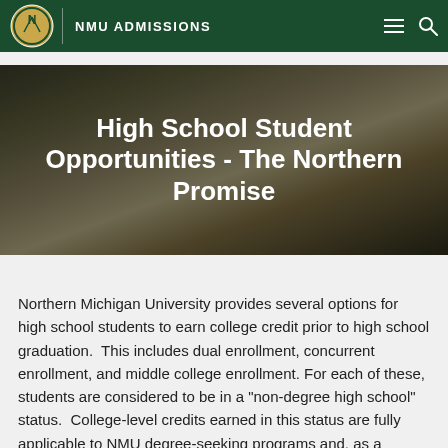NMU ADMISSIONS
High School Student Opportunities - The Northern Promise
Northern Michigan University provides several options for high school students to earn college credit prior to high school graduation.  This includes dual enrollment, concurrent enrollment, and middle college enrollment. For each of these, students are considered to be in a "non-degree high school" status.  College-level credits earned in this status are fully applicable to NMU degree-seeking programs and, as a regionally